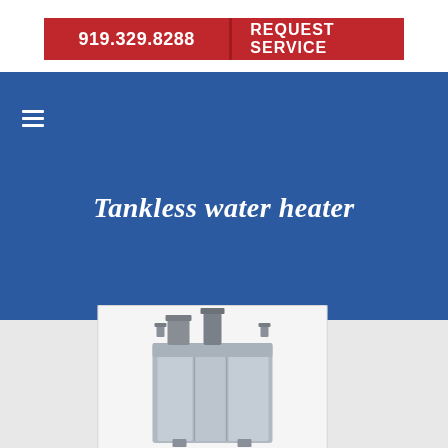919.329.8288  REQUEST SERVICE
Tankless water heater
[Figure (photo): Tankless water heater unit — silver/gray rectangular wall-mounted unit with vent pipes on top, shown against a white background inside a light gray bordered container.]